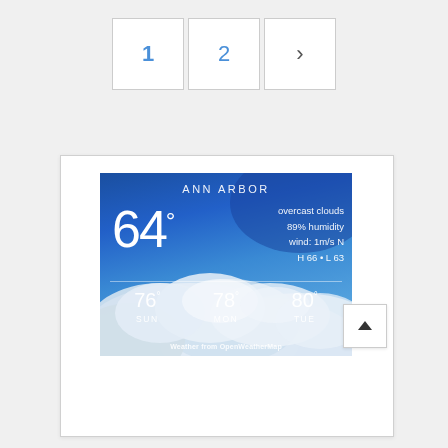[Figure (screenshot): Pagination control with buttons labeled 1, 2, and a right arrow (>)]
[Figure (screenshot): Weather widget for Ann Arbor showing 64 degrees, overcast clouds, 89% humidity, wind 1m/s N, H 66 L 63, and a 3-day forecast: SUN 76, MON 78, TUE 80. Background is a blue sky with clouds photo. Attribution: Weather from OpenWeatherMap.]